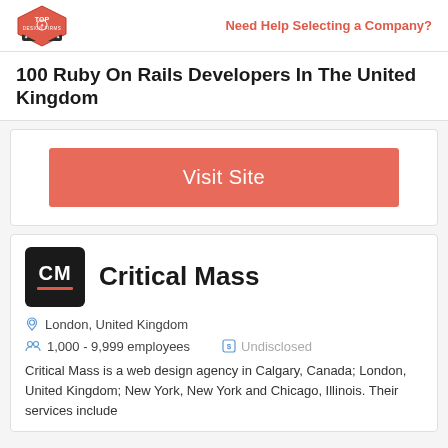Need Help Selecting a Company?
100 Ruby On Rails Developers In The United Kingdom
Visit Site
[Figure (logo): Critical Mass company logo: black square with white CM text and red underline bar]
Critical Mass
London, United Kingdom
1,000 - 9,999 employees   Undisclosed
Critical Mass is a web design agency in Calgary, Canada; London, United Kingdom; New York, New York and Chicago, Illinois. Their services include